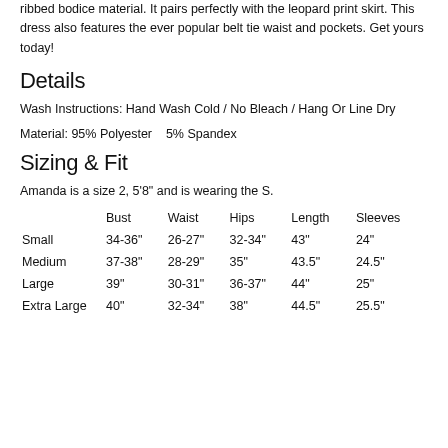ribbed bodice material. It pairs perfectly with the leopard print skirt. This dress also features the ever popular belt tie waist and pockets. Get yours today!
Details
Wash Instructions: Hand Wash Cold / No Bleach / Hang Or Line Dry
Material: 95% Polyester   5% Spandex
Sizing & Fit
Amanda is a size 2, 5'8" and is wearing the S.
|  | Bust | Waist | Hips | Length | Sleeves |
| --- | --- | --- | --- | --- | --- |
| Small | 34-36" | 26-27" | 32-34" | 43" | 24" |
| Medium | 37-38" | 28-29" | 35" | 43.5" | 24.5" |
| Large | 39" | 30-31" | 36-37" | 44" | 25" |
| Extra Large | 40" | 32-34" | 38" | 44.5" | 25.5" |